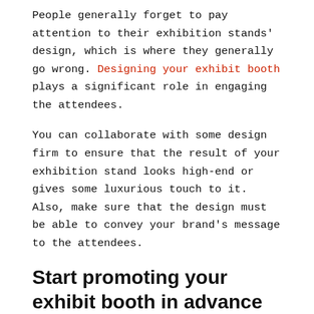People generally forget to pay attention to their exhibition stands' design, which is where they generally go wrong. Designing your exhibit booth plays a significant role in engaging the attendees.
You can collaborate with some design firm to ensure that the result of your exhibition stand looks high-end or gives some luxurious touch to it. Also, make sure that the design must be able to convey your brand's message to the attendees.
Start promoting your exhibit booth in advance
The next thing you have to do is start promoting your exhibition stand long before the day of your trade show. Most attendees come to attend the event by pre-deciding the stands that they want to